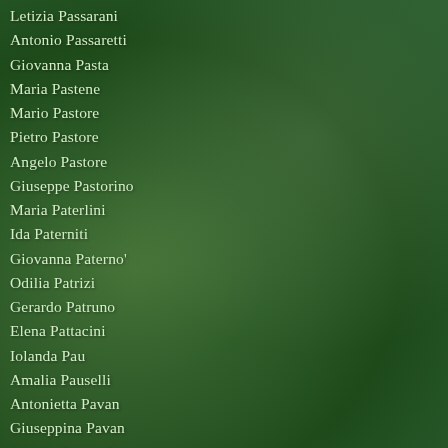Letizia Passarani
Antonio Passaretti
Giovanna Pasta
Maria Pastene
Mario Pastore
Pietro Pastore
Angelo Pastore
Giuseppe Pastorino
Maria Paterlini
Ida Paterniti
Giovanna Paterno'
Odilia Patrizi
Gerardo Patruno
Elena Pattacini
Iolanda Pau
Amalia Pauselli
Antonietta Pavan
Giuseppina Pavan
Amelia Pavanello
Giuseppe Pavani
Dorina Pavarani
Giuseppina Pavese
Angela Pavignano
Rosa Pavin
Roberto Pazzola
Margherita Peano
Lucio Pecora
Adele Pecorari